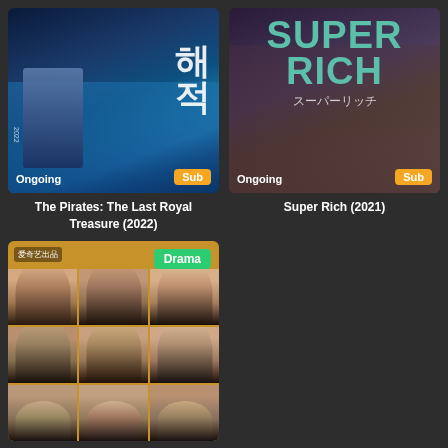[Figure (photo): Movie poster for The Pirates: The Last Royal Treasure (2022) showing action figure against blue ocean/wave background with Chinese characters and 'Ongoing' and 'Sub' badges]
The Pirates: The Last Royal Treasure (2022)
[Figure (photo): TV show poster for Super Rich (2021) showing two people embracing with teal 'SUPER RICH' title text and Japanese subtitle, with 'Ongoing' and 'Sub' badges]
Super Rich (2021)
[Figure (photo): Drama series poster showing a 3x3 grid of cast member headshots on golden/yellow background with 'Drama' badge and Chinese platform logo]